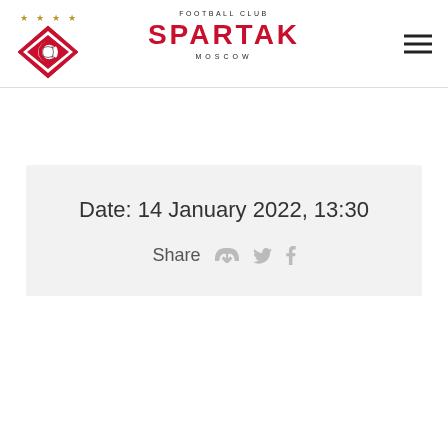[Figure (logo): FC Spartak Moscow logo with diamond shield, football, letter C, and four gold stars above]
FOOTBALL CLUB SPARTAK MOSCOW
Date: 14 January 2022, 13:30
Share